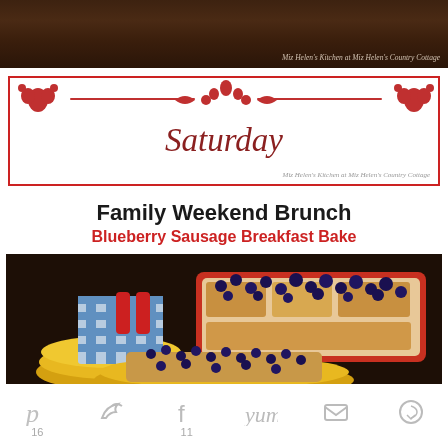[Figure (photo): Top portion of a food/kitchen photo, dark wooden background, appearing to be a kitchen scene]
[Figure (illustration): Saturday banner with red border, decorative red scroll/crown ornament at top, 'Saturday' in large italic serif font in dark red, watermark reading 'Miz Helen's Kitchen at Miz Helen's Country Cottage']
Family Weekend Brunch
Blueberry Sausage Breakfast Bake
[Figure (photo): Food photo showing a red baking dish filled with blueberry sausage breakfast bake topped with blueberries, yellow plates with blue checkered napkin and red salt/pepper shakers on left, a serving of the bake on a yellow plate in foreground]
[Figure (infographic): Social share bar with icons for Pinterest (p), Twitter (bird), Facebook (f), Yummly (yum), Email (envelope), and another share option (circular arrow), with counts 16 under Pinterest and 11 under Facebook]